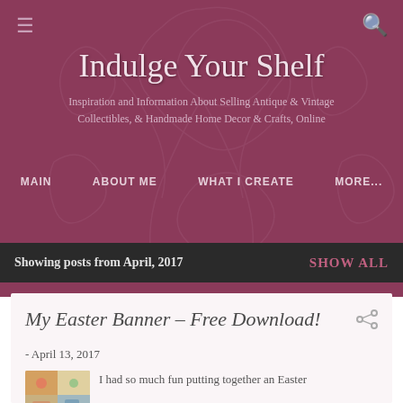Indulge Your Shelf
Inspiration and Information About Selling Antique & Vintage Collectibles, & Handmade Home Decor & Crafts, Online
MAIN
ABOUT ME
WHAT I CREATE
MORE...
Showing posts from April, 2017
SHOW ALL
My Easter Banner - Free Download!
- April 13, 2017
I had so much fun putting together an Easter